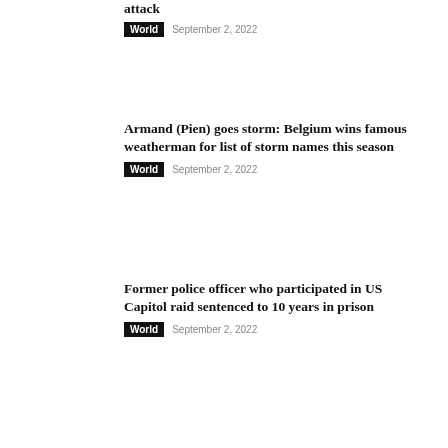attack
World   September 2, 2022
Armand (Pien) goes storm: Belgium wins famous weatherman for list of storm names this season
World   September 2, 2022
Former police officer who participated in US Capitol raid sentenced to 10 years in prison
World   September 2, 2022